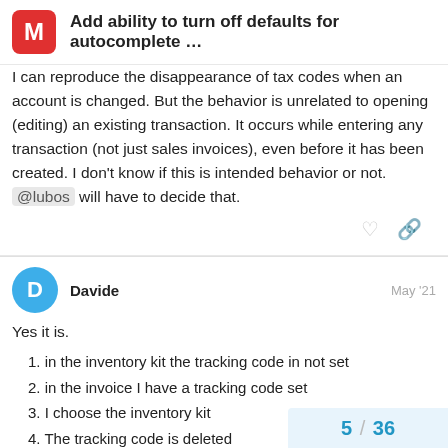Add ability to turn off defaults for autocomplete …
I can reproduce the disappearance of tax codes when an account is changed. But the behavior is unrelated to opening (editing) an existing transaction. It occurs while entering any transaction (not just sales invoices), even before it has been created. I don't know if this is intended behavior or not. @lubos will have to decide that.
Davide — May '21
Yes it is.
1. in the inventory kit the tracking code in not set
2. in the invoice I have a tracking code set
3. I choose the inventory kit
4. The tracking code is deleted
5 / 36